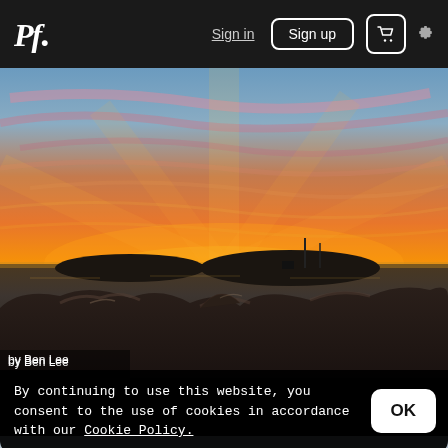Pf. | Sign in | Sign up | 🛒 | ⚙
[Figure (photo): Sunset landscape photograph showing two rocky islands silhouetted against a vivid orange and pink sky over calm water, with large dark rocks in the foreground.]
by Ben Lee
By continuing to use this website, you consent to the use of cookies in accordance with our Cookie Policy.